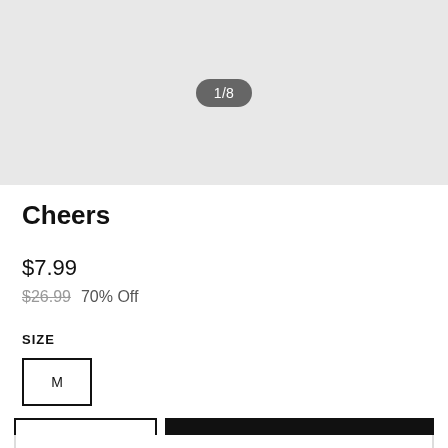[Figure (other): Product image placeholder area showing page indicator badge '1/8' on gray background]
Cheers
$7.99
$26.99  70% Off
SIZE
M
− 1 + ADD TO BAG